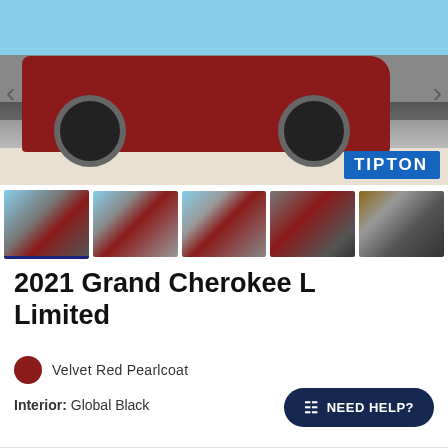[Figure (photo): Main photo of a red 2021 Jeep Grand Cherokee L Limited in a parking lot, front-side view showing wheel and front fascia. Tipton dealer badge in bottom right corner. Left and right navigation arrows visible.]
[Figure (photo): Thumbnail strip of 5 photos of the 2021 Jeep Grand Cherokee L Limited: side view, front-side view, rear-side view, rear view, and cargo area/trunk view. First thumbnail is active/selected.]
2021 Grand Cherokee L Limited
Velvet Red Pearlcoat
Interior: Global Black
NEED HELP?